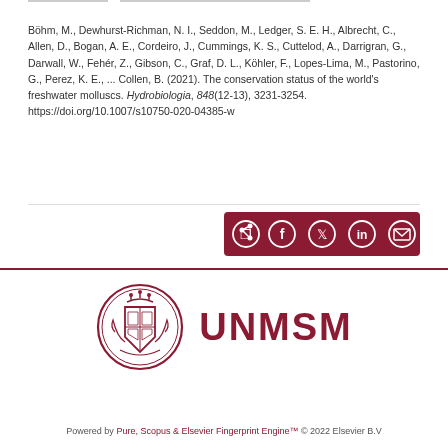Böhm, M., Dewhurst-Richman, N. I., Seddon, M., Ledger, S. E. H., Albrecht, C., Allen, D., Bogan, A. E., Cordeiro, J., Cummings, K. S., Cuttelod, A., Darrigran, G., Darwall, W., Fehér, Z., Gibson, C., Graf, D. L., Köhler, F., Lopes-Lima, M., Pastorino, G., Perez, K. E., ... Collen, B. (2021). The conservation status of the world's freshwater molluscs. Hydrobiologia, 848(12-13), 3231-3254. https://doi.org/10.1007/s10750-020-04385-w
[Figure (other): Social sharing bar with icons for share, Facebook, Twitter, LinkedIn, and email on a dark red/maroon background]
[Figure (logo): UNMSM university crest/seal logo on the left and the text UNMSM in large bold maroon letters on the right]
Powered by Pure, Scopus & Elsevier Fingerprint Engine™ © 2022 Elsevier B.V